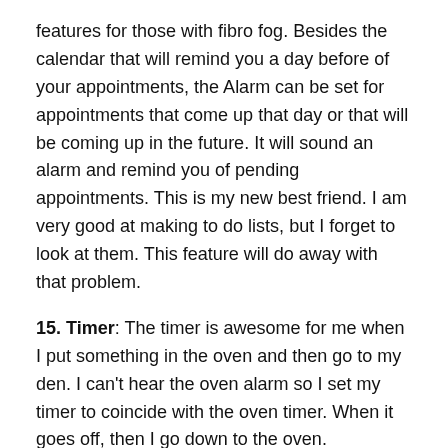features for those with fibro fog. Besides the calendar that will remind you a day before of your appointments, the Alarm can be set for appointments that come up that day or that will be coming up in the future. It will sound an alarm and remind you of pending appointments. This is my new best friend. I am very good at making to do lists, but I forget to look at them. This feature will do away with that problem.
15. Timer: The timer is awesome for me when I put something in the oven and then go to my den. I can't hear the oven alarm so I set my timer to coincide with the oven timer. When it goes off, then I go down to the oven.
16. Games: Games are a good way to get your mind off of things. Every phone that I know of comes with several default games. However, there are countless games that